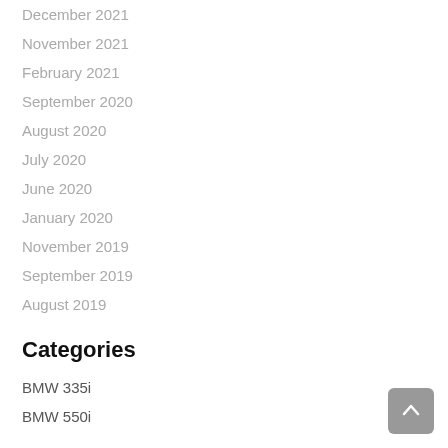December 2021
November 2021
February 2021
September 2020
August 2020
July 2020
June 2020
January 2020
November 2019
September 2019
August 2019
Categories
BMW 335i
BMW 550i